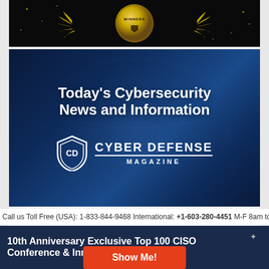[Figure (illustration): Winners badge/award seal with gold laurels on black background]
[Figure (illustration): Cyber Defense Magazine advertisement banner with globe background, text 'Today's Cybersecurity News and Information' and CDM shield logo]
Call us Toll Free (USA): 1-833-844-9468 International: +1-603-280-4451 M-F 8am to
10th Anniversary Exclusive Top 100 CISO Conference & Innovators Showcase
Show Me!